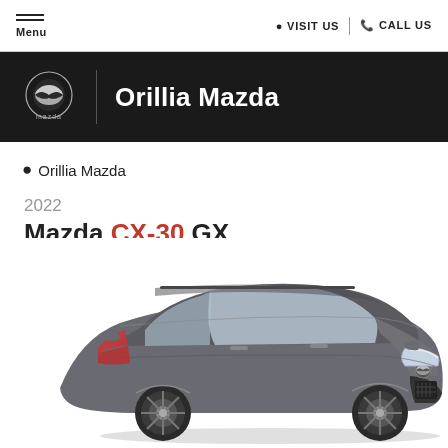Menu | VISIT US | CALL US
Orillia Mazda
Orillia Mazda
2022
Mazda CX-30 GX
[Figure (photo): 2022 Mazda CX-30 GX SUV in dark grey/graphite color, shown in 3/4 front view on white background]